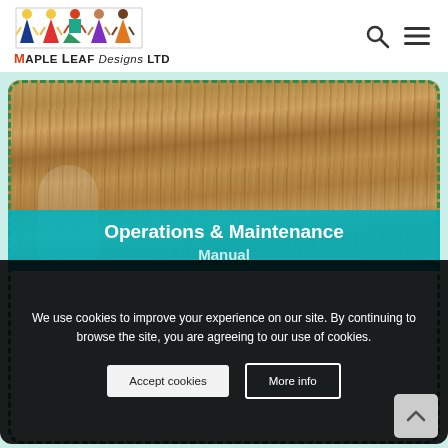[Figure (logo): Maple Leaf Designs LTD logo with illustrated children figures in colorful clothing]
Operations & Maintenance Manual
We use cookies to improve your experience on our site. By continuing to browse the site, you are agreeing to our use of cookies.
Accept cookies
More info